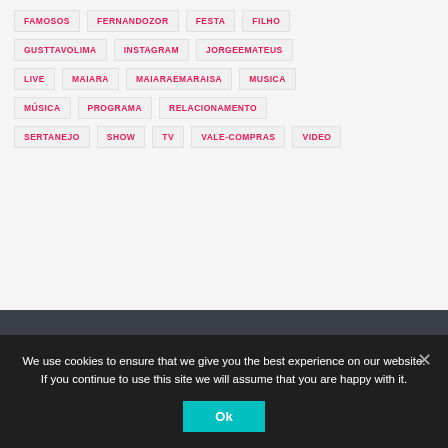FAMOSOS
FERNANDOZOR
FESTA
FILHO
GUSTTAVOLIMA
INSTAGRAM
JORGEEMATEUS
LIVE
MAIARA
MAIARAEMARAISA
MUSICA
MÚSICA
PROGRAMA
RELACIONAMENTO
SERTANEJO
SHOW
TV
VALE-COMPRAS
VIDEO
YOU MAY ALSO LIKE
[Figure (photo): Dark image thumbnail in 'You May Also Like' section]
We use cookies to ensure that we give you the best experience on our website. If you continue to use this site we will assume that you are happy with it.
Ok